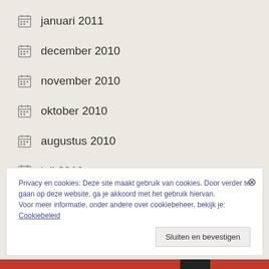januari 2011
december 2010
november 2010
oktober 2010
augustus 2010
juli 2010
Privacy en cookies: Deze site maakt gebruik van cookies. Door verder te gaan op deze website, ga je akkoord met het gebruik hiervan. Voor meer informatie, onder andere over cookiebeheer, bekijk je: Cookiebeleid
Sluiten en bevestigen